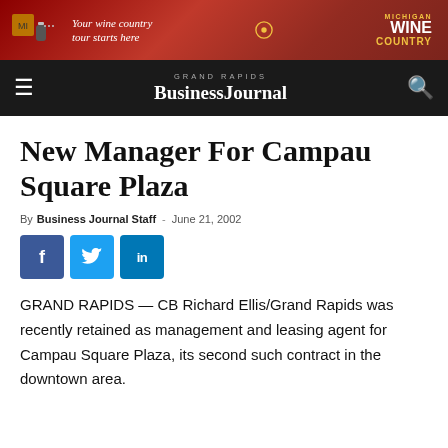[Figure (illustration): Michigan Wine Country advertisement banner with wine bottle graphic and text 'Your wine country tour starts here']
GRAND RAPIDS BusinessJournal
New Manager For Campau Square Plaza
By Business Journal Staff - June 21, 2002
[Figure (infographic): Social media sharing buttons: Facebook, Twitter, LinkedIn]
GRAND RAPIDS — CB Richard Ellis/Grand Rapids was recently retained as management and leasing agent for Campau Square Plaza, its second such contract in the downtown area.